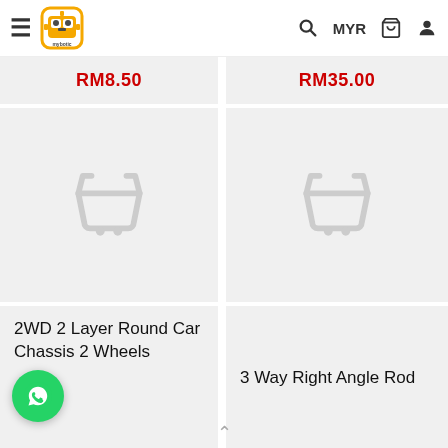≡ [Mybotic logo] MYR 🔍 🛒 👤
RM8.50
RM35.00
[Figure (other): Product image placeholder with shopping cart icon (left product card)]
[Figure (other): Product image placeholder with shopping cart icon (right product card)]
2WD 2 Layer Round Car Chassis 2 Wheels
3 Way Right Angle Rod
[Figure (other): WhatsApp floating action button (green circle with WhatsApp icon)]